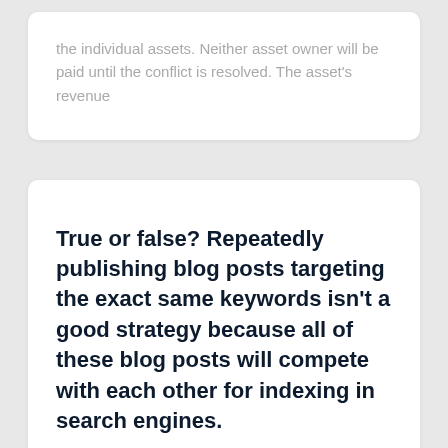the individual assets. Neither asset owner will be paid until the conflict is resolved. The asset's revenue
True or false? Repeatedly publishing blog posts targeting the exact same keywords isn't a good strategy because all of these blog posts will compete with each other for indexing in search engines.
False True